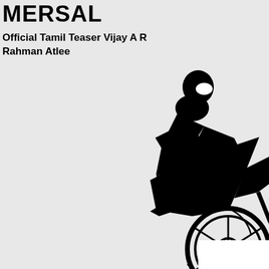MERSAL
Official Tamil Teaser Vijay A R Rahman Atlee
[Figure (illustration): Partial large bold italic letter M in black on the right side, top portion visible, with a black and white illustration of a motorcyclist leaning into a turn on a motorcycle, positioned on the right side of the page. A small white rectangle is visible at the bottom right corner.]